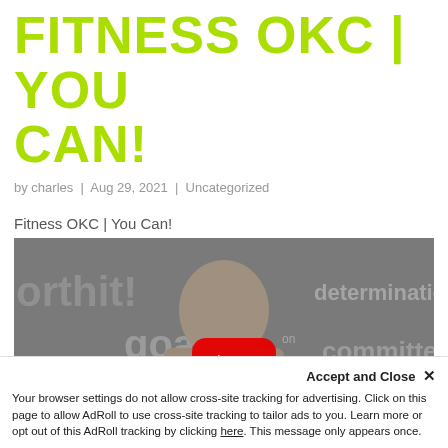FITNESS OKC | YOU CAN!
by charles | Aug 29, 2021 | Uncategorized
Fitness OKC | You Can!
[Figure (screenshot): YouTube video thumbnail showing a man standing in front of a wall with motivational words (determination, goals, commitment, encouragement) and a YouTube play button overlay.]
Accept and Close ✕
Your browser settings do not allow cross-site tracking for advertising. Click on this page to allow AdRoll to use cross-site tracking to tailor ads to you. Learn more or opt out of this AdRoll tracking by clicking here. This message only appears once.